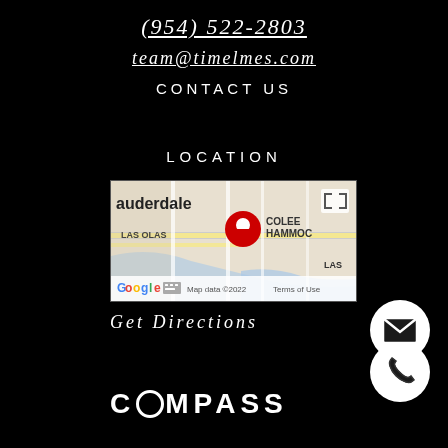(954) 522-2803
team@timelmes.com
CONTACT US
LOCATION
[Figure (map): Google Maps screenshot showing Fort Lauderdale area with a red location pin near Las Olas and Colee Hammock area. Map data ©2022 Terms of Use visible at bottom.]
Get Directions
[Figure (illustration): White circle icon with email/envelope symbol]
[Figure (illustration): White circle icon with phone/handset symbol]
COMPASS